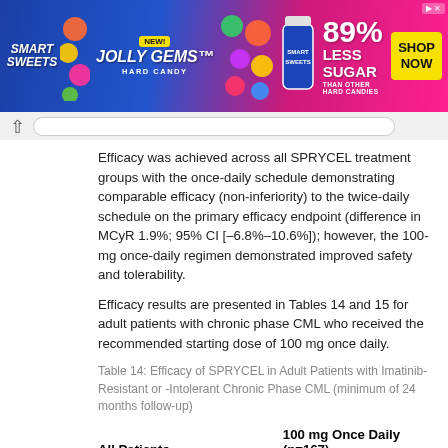[Figure (other): Smart Sweets Jolly Gems advertisement banner: colorful candy ad with '89% Less Sugar than other hard candies' and 'Shop Now' button]
Efficacy was achieved across all SPRYCEL treatment groups with the once-daily schedule demonstrating comparable efficacy (non-inferiority) to the twice-daily schedule on the primary efficacy endpoint (difference in MCyR 1.9%; 95% CI [–6.8%–10.6%]); however, the 100-mg once-daily regimen demonstrated improved safety and tolerability.
Efficacy results are presented in Tables 14 and 15 for adult patients with chronic phase CML who received the recommended starting dose of 100 mg once daily.
Table 14: Efficacy of SPRYCEL in Adult Patients with Imatinib-Resistant or -Intolerant Chronic Phase CML (minimum of 24 months follow-up)
| All Patients | 100 mg Once Daily (n=167) |
| --- | --- |
| Hematologic Response Rate % |  |
Hematologic Response Rate %